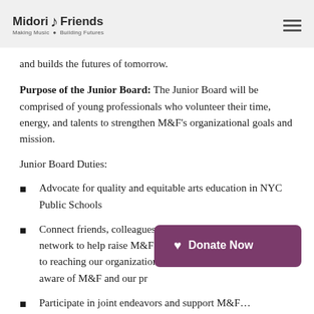Midori & Friends — Making Music · Building Futures
and builds the futures of tomorrow.
Purpose of the Junior Board: The Junior Board will be comprised of young professionals who volunteer their time, energy, and talents to strengthen M&F's organizational goals and mission.
Junior Board Duties:
Advocate for quality and equitable arts education in NYC Public Schools
Connect friends, colleagues, and organizations in your network to help raise M&F's visibility and bring M&F closer to reaching our organizational goals by making leaders aware of M&F and our pr…
Participate in joint endeavors and support M&F…